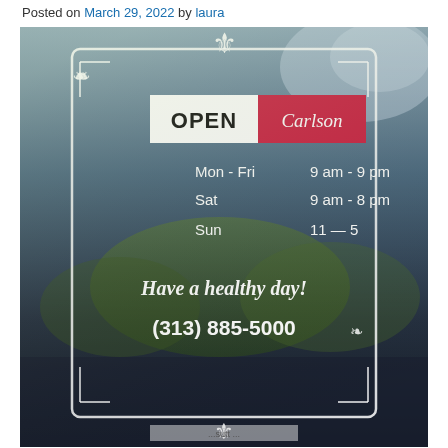Posted on March 29, 2022 by laura
[Figure (photo): Photo of a store window/door with an OPEN sign (Carlson brand) and posted hours: Mon-Fri 9am-9pm, Sat 9am-8pm, Sun 11-5. Text reads 'Have a healthy day!' and phone number (313) 885-5000. Decorative white ornamental border on glass door. Reflections of outdoor scene visible.]